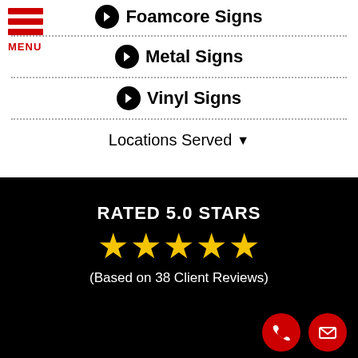Foamcore Signs
Metal Signs
Vinyl Signs
Locations Served
RATED 5.0 STARS
★★★★★
(Based on 38 Client Reviews)